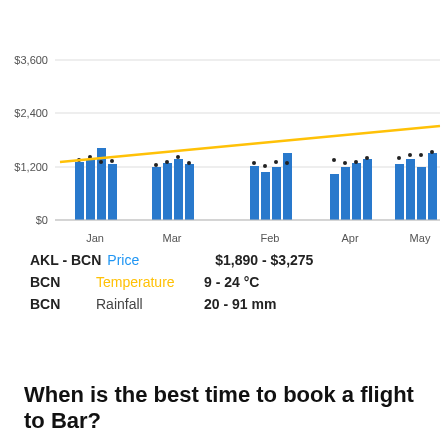[Figure (grouped-bar-chart): Flight price chart AKL to BCN]
AKL - BCN  Price  $1,890 - $3,275
BCN  Temperature  9 - 24 °C
BCN  Rainfall  20 - 91 mm
When is the best time to book a flight to Bar?